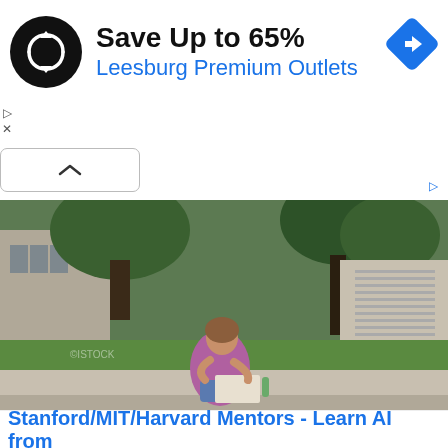[Figure (screenshot): Advertisement banner with black circular logo containing a double-arrow icon, text 'Save Up to 65%' in bold black, 'Leesburg Premium Outlets' in blue, and a blue diamond navigation icon on the right. Below is a collapse/chevron button bar.]
[Figure (photo): Outdoor campus photograph showing a student in a purple top sitting on a low concrete wall reading a newspaper/papers, with green lawn, trees, and a building in the background. Another person lies on the grass in the distance.]
Stanford/MIT/Harvard Mentors - Learn AI from